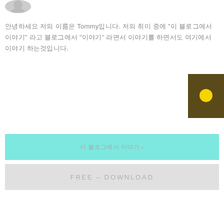[Figure (photo): Circular profile photo of a person at top-left]
안녕하세요 저의 이름은 Tommy입니다. 저의 취미 중에 "이 블로그에서 이야기" 라고 블로그에서 "이야기" 라면서 이야기를 하면서도 여기에서 이야기 하는것입니다.
[Figure (illustration): Dark olive/brown square with yellow speech bubble chat icon on the right side]
이 블로그에서 이야기 >
FREE – DOWNLOAD